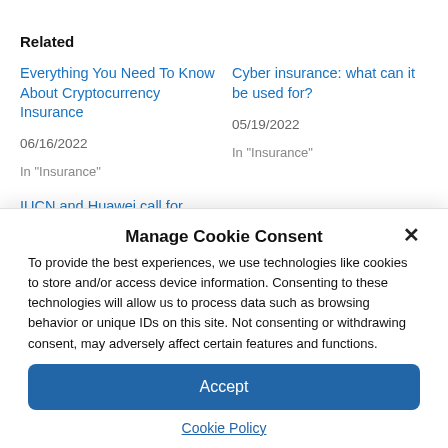Related
Everything You Need To Know About Cryptocurrency Insurance
06/16/2022
In "Insurance"
Cyber insurance: what can it be used for?
05/19/2022
In "Insurance"
IUCN and Huawei call for more technology to
Manage Cookie Consent
To provide the best experiences, we use technologies like cookies to store and/or access device information. Consenting to these technologies will allow us to process data such as browsing behavior or unique IDs on this site. Not consenting or withdrawing consent, may adversely affect certain features and functions.
Accept
Cookie Policy